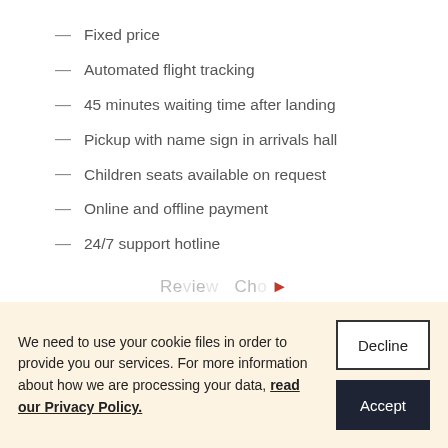— Fixed price
— Automated flight tracking
— 45 minutes waiting time after landing
— Pickup with name sign in arrivals hall
— Children seats available on request
— Online and offline payment
— 24/7 support hotline
We need to use your cookie files in order to provide you our services. For more information about how we are processing your data, read our Privacy Policy.